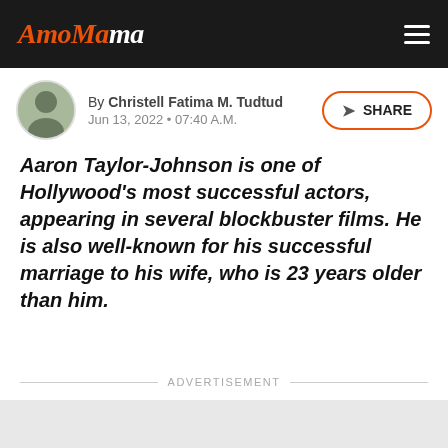AmoMama
By Christell Fatima M. Tudtud
Jun 13, 2022 • 07:40 A.M.
Aaron Taylor-Johnson is one of Hollywood's most successful actors, appearing in several blockbuster films. He is also well-known for his successful marriage to his wife, who is 23 years older than him.
ADVERTISEMENT